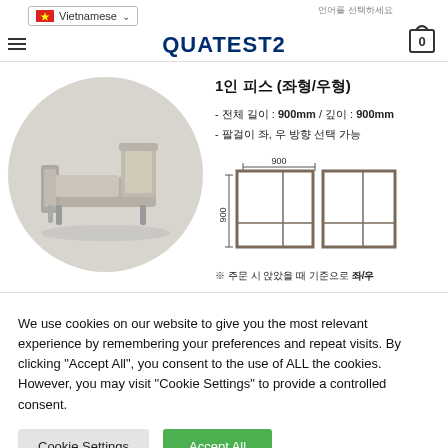Vietnamese | QUATEST2 | 0
[Figure (photo): Circular cropped photo of a modern single-seat armchair / modular sofa piece in beige/grey upholstery with metal legs, on a light grey background. Accompanying technical diagram showing top and side view with dimensions 900mm x 900mm.]
1인 피스 (좌형/우형)
- 전체 길이 : 900mm / 깊이 : 900mm
- 팔걸이 좌, 우 방향 선택 가능
※ 주문 시 앉았을 때 기준으로 좌/우
We use cookies on our website to give you the most relevant experience by remembering your preferences and repeat visits. By clicking "Accept All", you consent to the use of ALL the cookies. However, you may visit "Cookie Settings" to provide a controlled consent.
Cookie Settings
Accept All